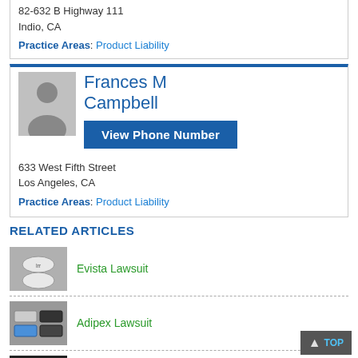82-632 B Highway 111
Indio, CA
Practice Areas: Product Liability
[Figure (photo): Silhouette placeholder photo of lawyer Frances M Campbell]
Frances M Campbell
View Phone Number
633 West Fifth Street
Los Angeles, CA
Practice Areas: Product Liability
RELATED ARTICLES
[Figure (photo): Photo of white oval pills on gray background - Evista]
Evista Lawsuit
[Figure (photo): Photo of Adipex pill packaging]
Adipex Lawsuit
[Figure (photo): Photo of Actonel pill packaging on dark background]
Actonel Lawsuit